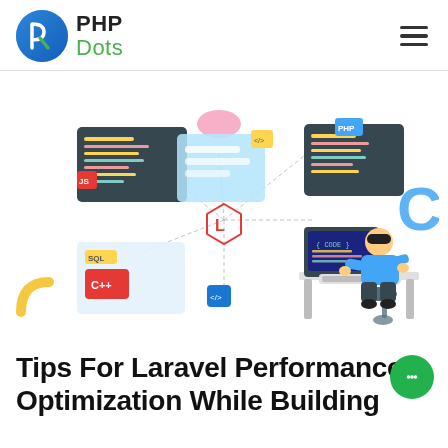PHP Dots
[Figure (illustration): Isometric illustration showing a developer at a desk with a computer, surrounded by floating code editor windows labeled with JS, PHP, C++, SQL, and a Laravel logo in the center connecting to various technology icons. A blue letter C shape and yellow arc are visible at the edges.]
Tips For Laravel Performance Optimization While Building